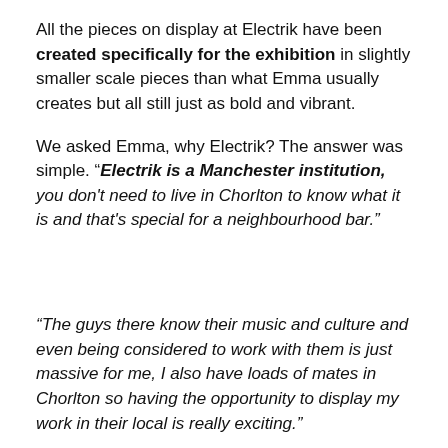All the pieces on display at Electrik have been created specifically for the exhibition in slightly smaller scale pieces than what Emma usually creates but all still just as bold and vibrant.
We asked Emma, why Electrik? The answer was simple. "Electrik is a Manchester institution, you don't need to live in Chorlton to know what it is and that's special for a neighbourhood bar."
"The guys there know their music and culture and even being considered to work with them is just massive for me, I also have loads of mates in Chorlton so having the opportunity to display my work in their local is really exciting."